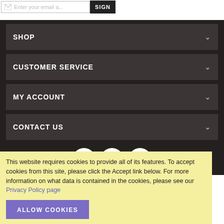[Figure (screenshot): Email signup input box with envelope icon and SIGN button]
SHOP
CUSTOMER SERVICE
MY ACCOUNT
CONTACT US
[Figure (infographic): Social media icons: Facebook, Instagram, Twitter in white circles on dark background]
This website requires cookies to provide all of its features. To accept cookies from this site, please click the Accept link below. For more information on what data is contained in the cookies, please see our Privacy Policy page
ALLOW COOKIES